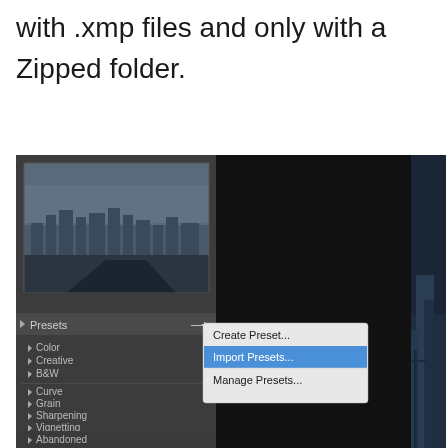with .xmp files and only with a Zipped folder.
[Figure (screenshot): Lightroom Classic screenshot showing the Presets panel on the left with Color, Creative, B&W, Curve, Grain, Sharpening, Vignetting, Abandoned, Aerial (expanded with B&W, B&W High Contrast, Beach, Coastal sub-items), and a context menu popup showing 'Create Preset...', 'Import Presets...' (highlighted), and 'Manage Presets...' options. A photo of a city skyline is visible in the preview area and on the right side.]